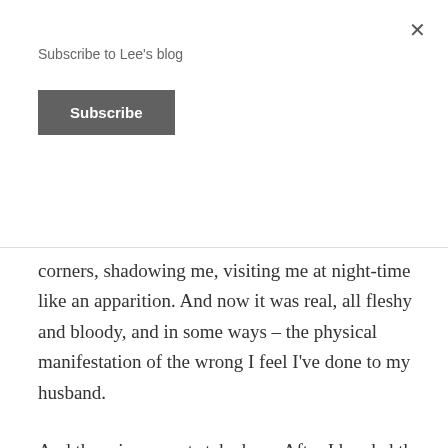Subscribe to Lee's blog
Subscribe
corners, shadowing me, visiting me at night-time like an apparition. And now it was real, all fleshy and bloody, and in some ways – the physical manifestation of the wrong I feel I've done to my husband.
And there is more at stake here. After I handed the almost-final draft of this memoir to several trusted friends to read, I wrote in my diary: 'When someone reads 'The Dangerous Bride' I feel so vulnerable as if I let them poke inside my